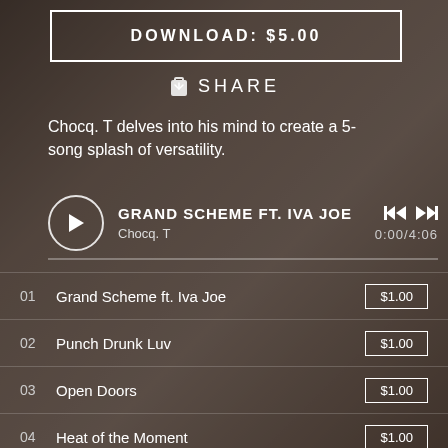[Figure (photo): Background photo of a man in a dark grey sweater, seated, looking to the side]
DOWNLOAD: $5.00
SHARE
Chocq. T delves into his mind to create a 5-song splash of versatility.
GRAND SCHEME FT. IVA JOE
Chocq. T
0:00/4:06
01  Grand Scheme ft. Iva Joe  $1.00
02  Punch Drunk Luv  $1.00
03  Open Doors  $1.00
04  Heat of the Moment  $1.00